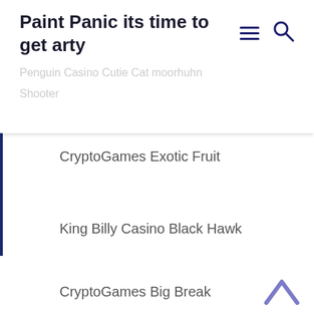Paint Panic its time to get arty
Penguin Casino Cutie Cat moorhuhn Shooter
CryptoGames Exotic Fruit
King Billy Casino Black Hawk
CryptoGames Big Break
Syndicate Casino Fountain of Fortune